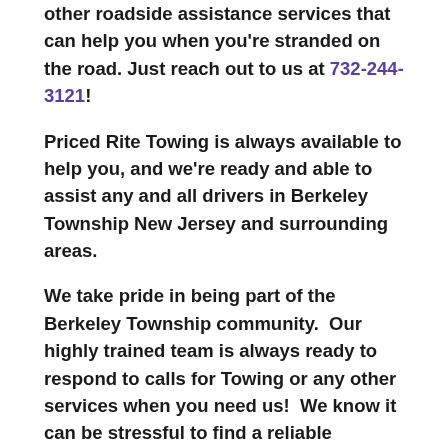other roadside assistance services that can help you when you're stranded on the road. Just reach out to us at 732-244-3121!
Priced Rite Towing is always available to help you, and we're ready and able to assist any and all drivers in Berkeley Township New Jersey and surrounding areas.
We take pride in being part of the Berkeley Township community.  Our highly trained team is always ready to respond to calls for Towing or any other services when you need us!  We know it can be stressful to find a reliable company, and we hope that you'll give us the opportunity to show you that Priced Rite Towing is the best place to call for Towing in Berkeley Township New Jersey. Look